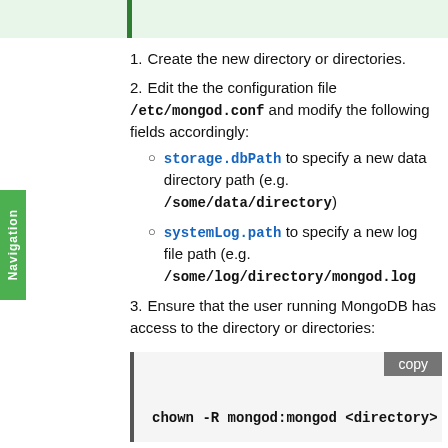1. Create the new directory or directories.
2. Edit the the configuration file /etc/mongod.conf and modify the following fields accordingly:
storage.dbPath to specify a new data directory path (e.g. /some/data/directory)
systemLog.path to specify a new log file path (e.g. /some/log/directory/mongod.log
3. Ensure that the user running MongoDB has access to the directory or directories:
chown -R mongod:mongod <directory>